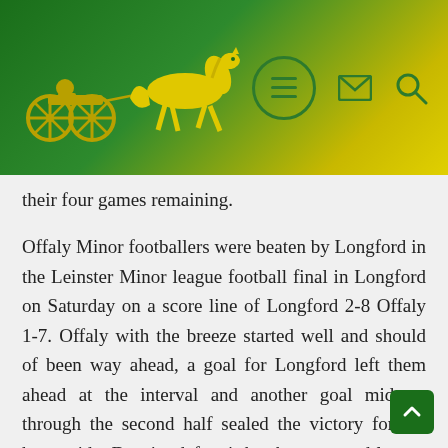[Figure (logo): Yellow horse and sulky/cart logo on green-to-yellow gradient header background with navigation icons (hamburger menu, envelope, search)]
their four games remaining.
Offaly Minor footballers were beaten by Longford in the Leinster Minor league football final in Longford on Saturday on a score line of Longford 2-8 Offaly 1-7. Offaly with the breeze started well and should of been way ahead, a goal for Longford left them ahead at the interval and another goal midway through the second half sealed the victory for the home side. Despite defeat it has been a good league campaign for the Offaly lads and attention will now turn to the championship meeting with Kilkenny. On the team and panel from the minor side were Ruairi McNamee and Jack Murphy.